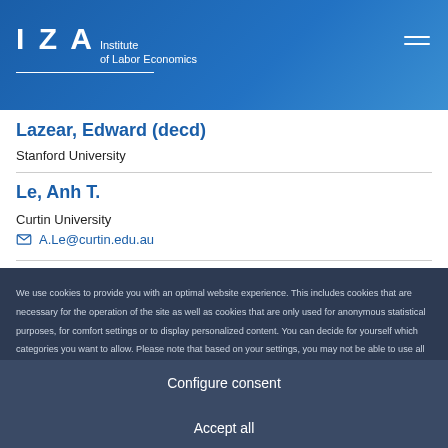[Figure (logo): IZA Institute of Labor Economics logo with white text on blue gradient header bar, hamburger menu icon top right]
Lazear, Edward (decd)
Stanford University
Le, Anh T.
Curtin University
A.Le@curtin.edu.au
We use cookies to provide you with an optimal website experience. This includes cookies that are necessary for the operation of the site as well as cookies that are only used for anonymous statistical purposes, for comfort settings or to display personalized content. You can decide for yourself which categories you want to allow. Please note that based on your settings, you may not be able to use all of the site's functions.
Configure consent
Accept all